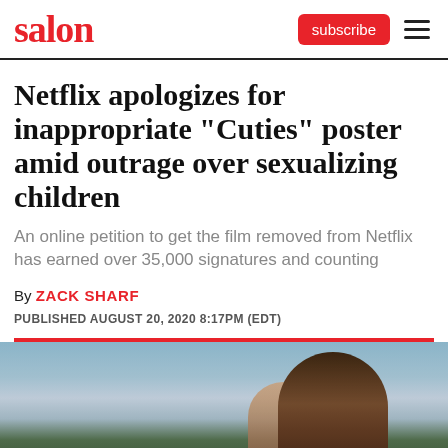salon | subscribe ≡
Netflix apologizes for inappropriate "Cuties" poster amid outrage over sexualizing children
An online petition to get the film removed from Netflix has earned over 35,000 signatures and counting
By ZACK SHARF
PUBLISHED AUGUST 20, 2020 8:17PM (EDT)
[Figure (photo): Photo of children, with a young Black girl in the foreground, outdoors with sky and greenery in the background]